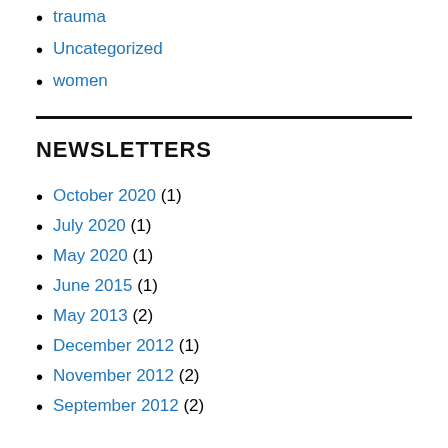trauma
Uncategorized
women
NEWSLETTERS
October 2020 (1)
July 2020 (1)
May 2020 (1)
June 2015 (1)
May 2013 (2)
December 2012 (1)
November 2012 (2)
September 2012 (2)